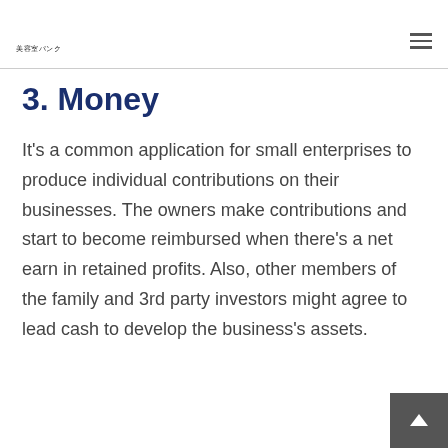美容室パンク
3. Money
It's a common application for small enterprises to produce individual contributions on their businesses. The owners make contributions and start to become reimbursed when there's a net earn in retained profits. Also, other members of the family and 3rd party investors might agree to lead cash to develop the business's assets.